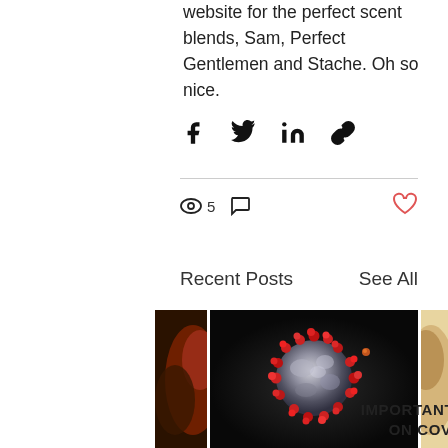website for the perfect scent blends, Sam, Perfect Gentlemen and Stache. Oh so nice.
[Figure (other): Social share icons: Facebook, Twitter, LinkedIn, Link]
[Figure (other): Engagement bar with 5 views icon, comment icon, and red heart like button]
Recent Posts
See All
[Figure (photo): Partial left thumbnail of food/sauce item (cropped)]
[Figure (photo): Center image: 3D rendering of coronavirus particle on dark background]
[Figure (photo): Partial right thumbnail of food/caramel item (cropped)]
IMPORTANT NOTICE ON COVID-19